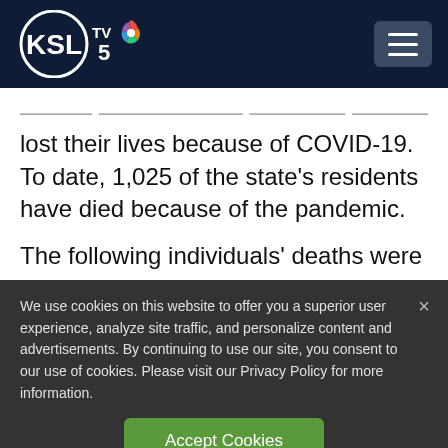KSL TV 5 — navigation header
lost their lives because of COVID-19. To date, 1,025 of the state's residents have died because of the pandemic.
The following individuals' deaths were
We use cookies on this website to offer you a superior user experience, analyze site traffic, and personalize content and advertisements. By continuing to use our site, you consent to our use of cookies. Please visit our Privacy Policy for more information.
Accept Cookies